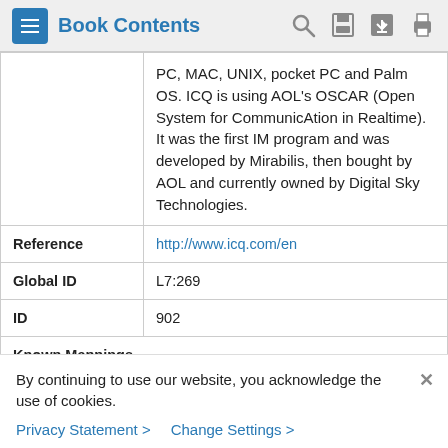Book Contents
|  | PC, MAC, UNIX, pocket PC and Palm OS. ICQ is using AOL's OSCAR (Open System for CommunicAtion in Realtime). It was the first IM program and was developed by Mirabilis, then bought by AOL and currently owned by Digital Sky Technologies. |
| Reference | http://www.icq.com/en |
| Global ID | L7:269 |
| ID | 902 |
| Known Mappings |  |
| UDP Port | 53,5353 |
By continuing to use our website, you acknowledge the use of cookies.
Privacy Statement > Change Settings >